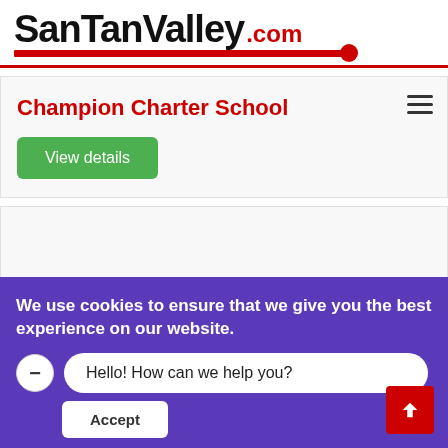SanTanValley.com
Champion Charter School
View details
We use cookies to ensure that we give you the best experience on our website.
Hello! How can we help you?
Accept